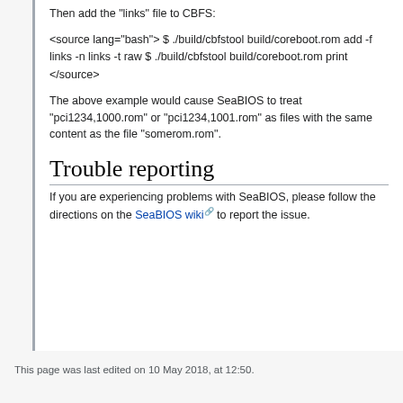Then add the "links" file to CBFS:
<source lang="bash"> $ ./build/cbfstool build/coreboot.rom add -f links -n links -t raw $ ./build/cbfstool build/coreboot.rom print </source>
The above example would cause SeaBIOS to treat "pci1234,1000.rom" or "pci1234,1001.rom" as files with the same content as the file "somerom.rom".
Trouble reporting
If you are experiencing problems with SeaBIOS, please follow the directions on the SeaBIOS wiki to report the issue.
This page was last edited on 10 May 2018, at 12:50.